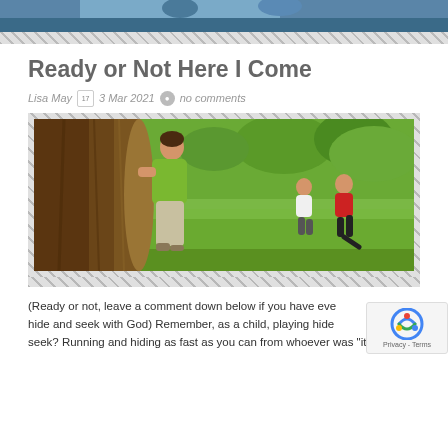[Figure (photo): Top portion of a photo showing people, cropped at top of page]
Ready or Not Here I Come
Lisa May  17  3 Mar 2021  no comments
[Figure (photo): Children playing hide and seek outdoors. A boy in a green shirt leans face-first against a large tree trunk while two other children run away across a grassy field with trees in the background.]
(Ready or not, leave a comment down below if you have eve hide and seek with God) Remember, as a child, playing hide seek? Running and hiding as fast as you can from whoever was "it."